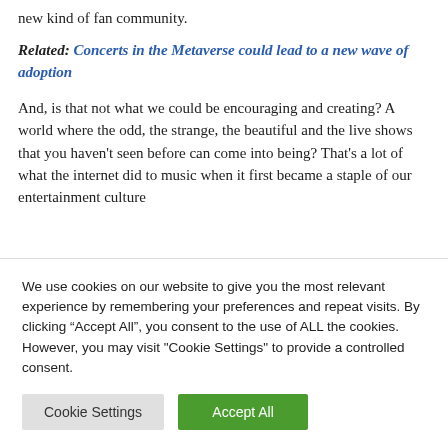new kind of fan community.
Related: Concerts in the Metaverse could lead to a new wave of adoption
And, is that not what we could be encouraging and creating? A world where the odd, the strange, the beautiful and the live shows that you haven't seen before can come into being? That's a lot of what the internet did to music when it first became a staple of our entertainment culture
We use cookies on our website to give you the most relevant experience by remembering your preferences and repeat visits. By clicking “Accept All”, you consent to the use of ALL the cookies. However, you may visit "Cookie Settings" to provide a controlled consent.